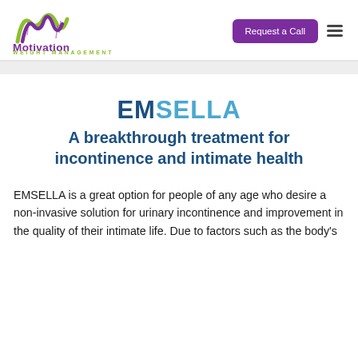[Figure (logo): Motivation Weight Management logo with stylized M in green and purple, text 'Motivation' in purple and 'WEIGHT MANAGEMENT' in green]
Request a Call
EMSELLA
A breakthrough treatment for incontinence and intimate health
EMSELLA is a great option for people of any age who desire a non-invasive solution for urinary incontinence and improvement in the quality of their intimate life. Due to factors such as the body's